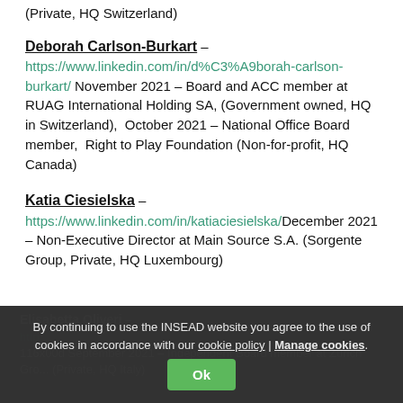(Private, HQ Switzerland)
Deborah Carlson-Burkart – https://www.linkedin.com/in/d%C3%A9borah-carlson-burkart/ November 2021 – Board and ACC member at RUAG International Holding SA, (Government owned, HQ in Switzerland),  October 2021 – National Office Board member,  Right to Play Foundation (Non-for-profit, HQ Canada)
Katia Ciesielska – https://www.linkedin.com/in/katiaciesielska/December 2021 – Non-Executive Director at Main Source S.A. (Sorgente Group, Private, HQ Luxembourg)
By continuing to use the INSEAD website you agree to the use of cookies in accordance with our cookie policy | Manage cookies. Ok